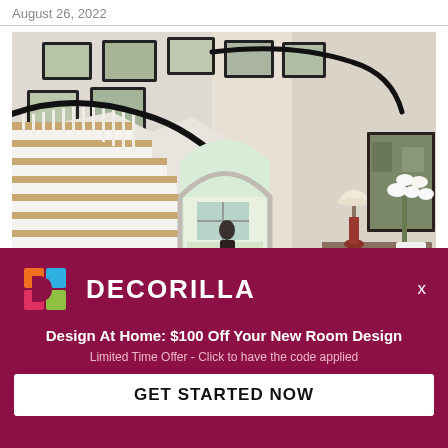August 26, 2022
[Figure (photo): Interior photo of an elegant home entryway featuring a grand curved staircase with black handrail and white balusters, framed art gallery wall on the staircase wall, arched doorway leading to a bright room, and a console table with a red lamp and white orchid flowers on the right side.]
[Figure (logo): Decorilla logo: colorful square logo mark with orange, blue/cyan, green, and red/pink squares arranged in a D shape]
DECORILLA
Design At Home: $100 Off Your New Room Design
Limited Time Offer - Click to have the code applied
GET STARTED NOW